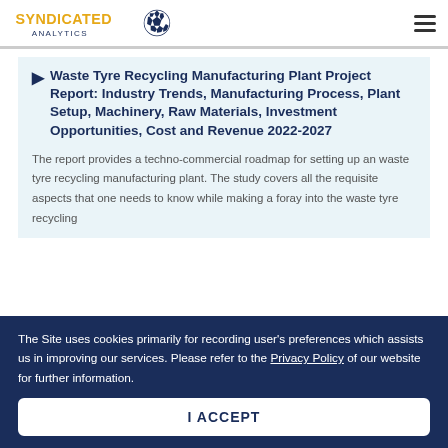SYNDICATED ANALYTICS
Waste Tyre Recycling Manufacturing Plant Project Report: Industry Trends, Manufacturing Process, Plant Setup, Machinery, Raw Materials, Investment Opportunities, Cost and Revenue 2022-2027
The report provides a techno-commercial roadmap for setting up an waste tyre recycling manufacturing plant. The study covers all the requisite aspects that one needs to know while making a foray into the waste tyre recycling
The Site uses cookies primarily for recording user's preferences which assists us in improving our services. Please refer to the Privacy Policy of our website for further information.
I ACCEPT